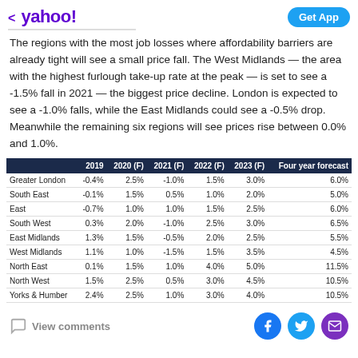< yahoo!    Get App
The regions with the most job losses where affordability barriers are already tight will see a small price fall. The West Midlands — the area with the highest furlough take-up rate at the peak — is set to see a -1.5% fall in 2021 — the biggest price decline. London is expected to see a -1.0% falls, while the East Midlands could see a -0.5% drop. Meanwhile the remaining six regions will see prices rise between 0.0% and 1.0%.
|  | 2019 | 2020 (F) | 2021 (F) | 2022 (F) | 2023 (F) | Four year forecast |
| --- | --- | --- | --- | --- | --- | --- |
| Greater London | -0.4% | 2.5% | -1.0% | 1.5% | 3.0% | 6.0% |
| South East | -0.1% | 1.5% | 0.5% | 1.0% | 2.0% | 5.0% |
| East | -0.7% | 1.0% | 1.0% | 1.5% | 2.5% | 6.0% |
| South West | 0.3% | 2.0% | -1.0% | 2.5% | 3.0% | 6.5% |
| East Midlands | 1.3% | 1.5% | -0.5% | 2.0% | 2.5% | 5.5% |
| West Midlands | 1.1% | 1.0% | -1.5% | 1.5% | 3.5% | 4.5% |
| North East | 0.1% | 1.5% | 1.0% | 4.0% | 5.0% | 11.5% |
| North West | 1.5% | 2.5% | 0.5% | 3.0% | 4.5% | 10.5% |
| Yorks & Humber | 2.4% | 2.5% | 1.0% | 3.0% | 4.0% | 10.5% |
View comments